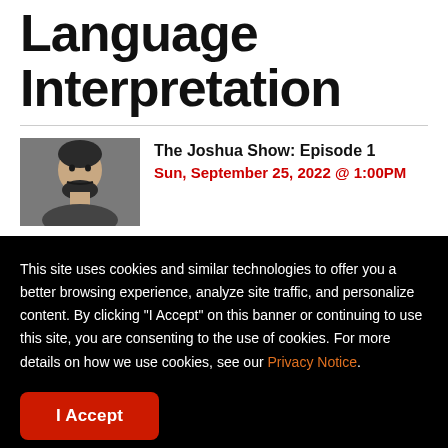Language Interpretation
[Figure (photo): Thumbnail photo of a man (Joshua) with a beard, used as event image for The Joshua Show Episode 1]
The Joshua Show: Episode 1
Sun, September 25, 2022 @ 1:00PM
This site uses cookies and similar technologies to offer you a better browsing experience, analyze site traffic, and personalize content. By clicking "I Accept" on this banner or continuing to use this site, you are consenting to the use of cookies. For more details on how we use cookies, see our Privacy Notice.
I Accept